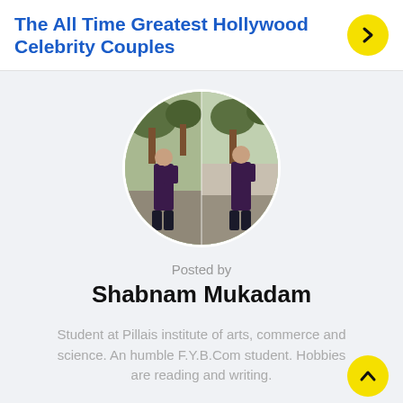The All Time Greatest Hollywood Celebrity Couples
[Figure (photo): Circular profile photo of Shabnam Mukadam, a young woman in a dark top standing outdoors with trees and a concrete structure behind her.]
Posted by
Shabnam Mukadam
Student at Pillais institute of arts, commerce and science. An humble F.Y.B.Com student. Hobbies are reading and writing.